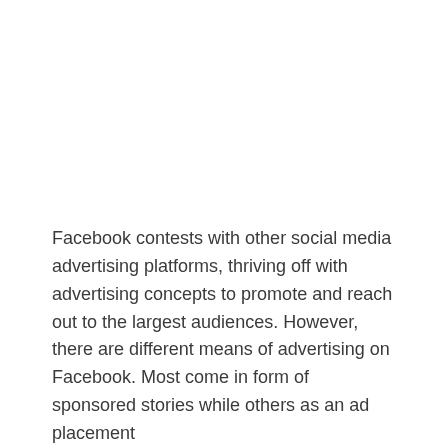Facebook contests with other social media advertising platforms, thriving off with advertising concepts to promote and reach out to the largest audiences. However, there are different means of advertising on Facebook. Most come in form of sponsored stories while others as an ad placement